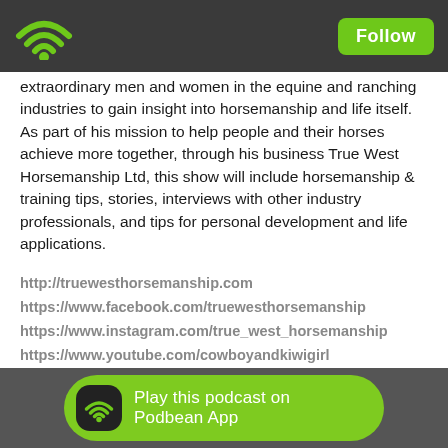Follow
extraordinary men and women in the equine and ranching industries to gain insight into horsemanship and life itself. As part of his mission to help people and their horses achieve more together, through his business True West Horsemanship Ltd, this show will include horsemanship & training tips, stories, interviews with other industry professionals, and tips for personal development and life applications.
http://truewesthorsemanship.com
https://www.facebook.com/truewesthorsemanship
https://www.instagram.com/true_west_horsemanship
https://www.youtube.com/cowboyandkiwigirl
https://www.tiktok.com/@true_west_horsemanship
Play this podcast on Podbean App